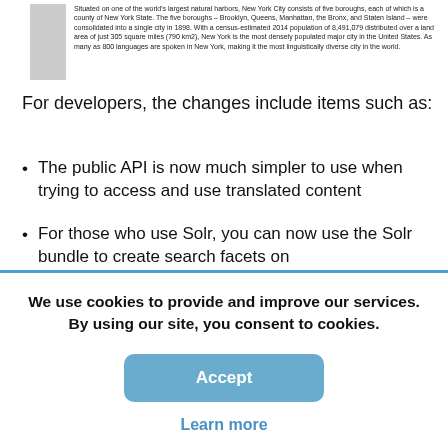[Figure (illustration): Partial screenshot of a webpage showing a gray placeholder image on the left and text about New York City on the right, describing its boroughs, population, and linguistic diversity.]
For developers, the changes include items such as:
The public API is now much simpler to use when trying to access and use translated content
For those who use Solr, you can now use the Solr bundle to create search facets on Content Taxonomy Sections and...
We use cookies to provide and improve our services. By using our site, you consent to cookies.
Accept
Learn more